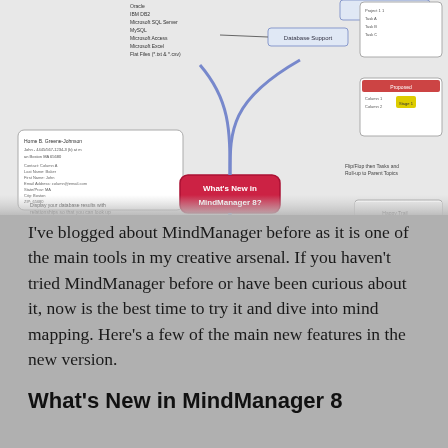[Figure (screenshot): Screenshot of a MindManager 8 mind map showing 'What's New in MindManager 8?' as the central topic with branches including Database Support, Automated Task Management, Web Services, Database Editor, Embedded Browser, and various sub-topics with database records and ESPN browser screenshots.]
I've blogged about MindManager before as it is one of the main tools in my creative arsenal. If you haven't tried MindManager before or have been curious about it, now is the best time to try it and dive into mind mapping. Here's a few of the main new features in the new version.
What's New in MindManager 8